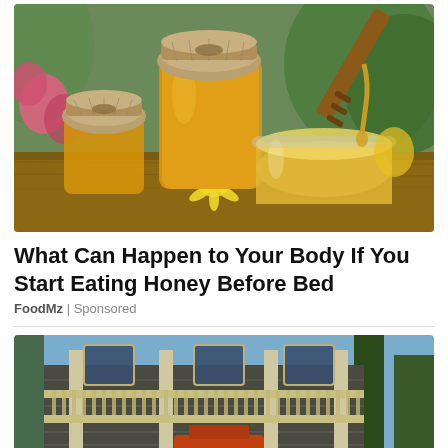[Figure (photo): Photo of honey jars with burlap lids, an open glass jar with honey dripping from a wooden honey dipper, and flowers including a yellow daisy on a wooden surface.]
What Can Happen to Your Body If You Start Eating Honey Before Bed
FoodMz | Sponsored
[Figure (photo): Photo of a dark two-story house being lifted or moved on a foundation, with construction equipment visible and trees in the background.]